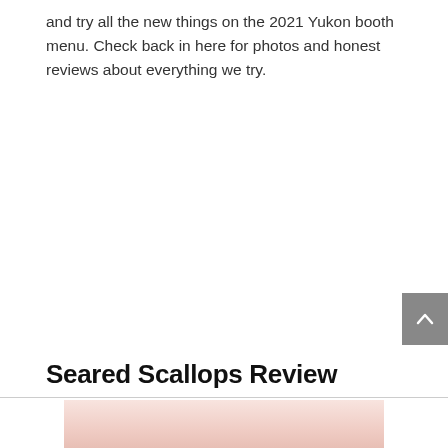and try all the new things on the 2021 Yukon booth menu. Check back in here for photos and honest reviews about everything we try.
Seared Scallops Review
[Figure (photo): Partial view of a food photo showing seared scallops, cropped at the bottom of the page.]